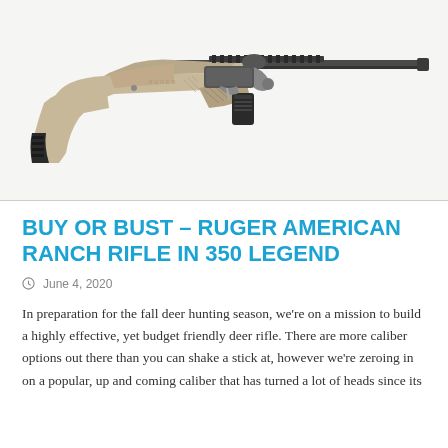[Figure (photo): Ruger American Ranch Rifle with tan/FDE synthetic stock and dark barrel, bolt-action rifle shown in profile on white/light grey background]
BUY OR BUST – RUGER AMERICAN RANCH RIFLE IN 350 LEGEND
June 4, 2020
In preparation for the fall deer hunting season, we're on a mission to build a highly effective, yet budget friendly deer rifle. There are more caliber options out there than you can shake a stick at, however we're zeroing in on a popular, up and coming caliber that has turned a lot of heads since its